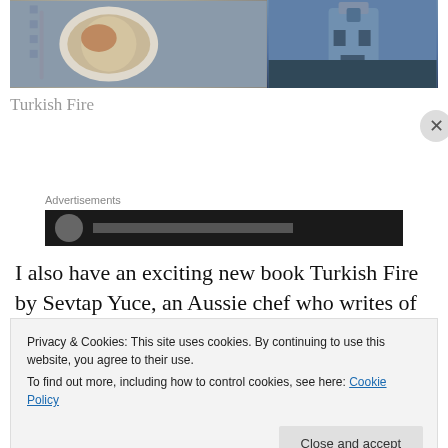[Figure (photo): Book cover image for Turkish Fire showing a plate of food and a tower/landmark, partial view at top of page]
Turkish Fire
Advertisements
[Figure (screenshot): Dark advertisement banner with circular icon and placeholder text]
I also have an exciting new book Turkish Fire by Sevtap Yuce, an Aussie chef who writes of her return to her Turkish roots. It's a book to linger over, not only for the
Privacy & Cookies: This site uses cookies. By continuing to use this website, you agree to their use.
To find out more, including how to control cookies, see here: Cookie Policy
Close and accept